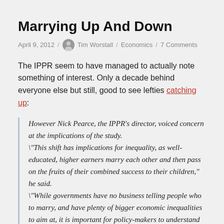Marrying Up And Down
April 9, 2012 / Tim Worstall / Economics / 7 Comments
The IPPR seem to have managed to actually note something of interest. Only a decade behind everyone else but still, good to see lefties catching up:
However Nick Pearce, the IPPR's director, voiced concern at the implications of the study. \"This shift has implications for inequality, as well-educated, higher earners marry each other and then pass on the fruits of their combined success to their children," he said. \"While governments have no business telling people who to marry, and have plenty of bigger economic inequalities to aim at, it is important for policy-makers to understand these trends if they are to have a full